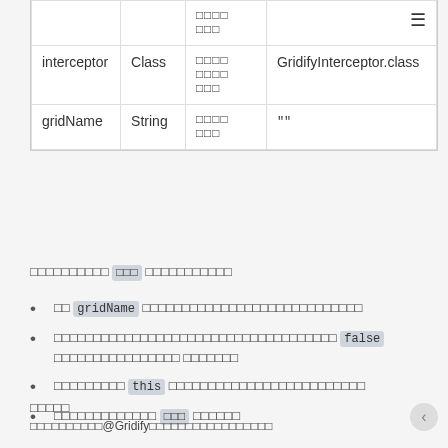|  |  |  |  |
| --- | --- | --- | --- |
|  |  | □□□□
□□□ | ☰ |
| interceptor | Class | □□□□
□□□□
□□□ | GridifyInterceptor.class |
| gridName | String | □□□□
□□□ | "" |
□□□□□□□□□□ □□□ □□□□□□□□□□□
□□ gridName □□□□□□□□□□□□□□□□□□□□□□□□□□□□
□□□□□□□□□□□□□□□□□□□□□□□□□□□□□□□□□□□□ false □□□□□□□□□□□□□□□□ □□□□□□□
□□□□□□□□□ this □□□□□□□□□□□□□□□□□□□□□□□□□
□□□□□□□□□□□□□ □□□ □□□□□□
□□□□□
□□□□□□□□□□@Gridify□□□□□□□□□□□□□□□□□